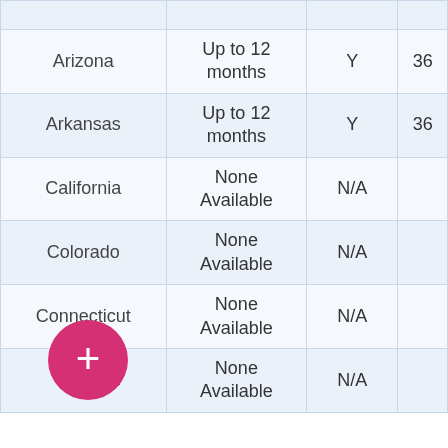| State | Duration | Y/N | Value |
| --- | --- | --- | --- |
| Arizona | Up to 12 months | Y | 36 |
| Arkansas | Up to 12 months | Y | 36 |
| California | None Available | N/A |  |
| Colorado | None Available | N/A |  |
| Connecticut | None Available | N/A |  |
| [Dela]ware | None Available | N/A |  |